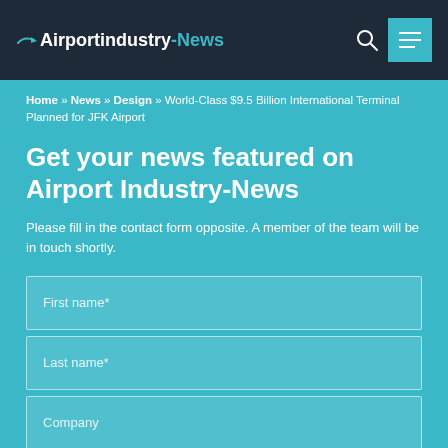Airportindustry-News
Home » News » Design » World-Class $9.5 Billion International Terminal Planned for JFK Airport
Get your news featured on Airport Industry-News
Please fill in the contact form opposite. A member of the team will be in touch shortly.
First name*
Last name*
Company